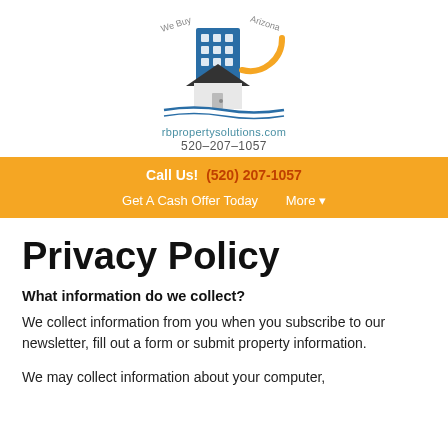[Figure (logo): RB Property Solutions logo with building, house and sun icon, text 'We Buy Arizona', website rbpropertysolutions.com, phone 520-207-1057]
Call Us! (520) 207-1057
Get A Cash Offer Today   More
Privacy Policy
What information do we collect?
We collect information from you when you subscribe to our newsletter, fill out a form or submit property information.
We may collect information about your computer,